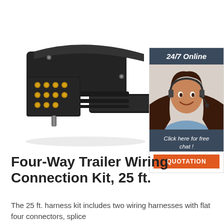[Figure (photo): Black multi-pin trailer wiring connector with gold pins, viewed at an angle. The connector shows multiple rows of gold/brass pins on a black plastic housing with a cable entry.]
[Figure (illustration): 24/7 Online chat widget showing a smiling woman with a headset against a dark blue header banner, with 'Click here for free chat!' text and an orange QUOTATION button below.]
Four-Way Trailer Wiring Connection Kit, 25 ft.
The 25 ft. harness kit includes two wiring harnesses with flat four connectors, splice